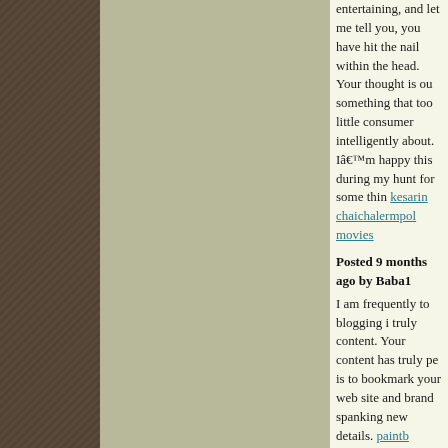entertaining, and let me tell you, you have hit the nail within the head. Your thought is outstanding; the issue is something that too little consumers are speaking intelligently about. Iâ€™m happy that I stumbled across this during my hunt for some thing relating to this. kesarin chaichalermpol movies
Posted 9 months ago by Baba1
I am frequently to blogging i truly appreciate your content. Your content has truly peaks my interest. I is to bookmark your web site and keep checking for brand spanking new details. paintb...
Posted 9 months ago by Baba1
contact lens are not only for fashion, they also protect your eyes from dust and UV radia...
Posted 6 months ago by Baba1
Good day. Very cool blog!! Man ... Iâ€™ll bookmark your website and take the feeds additionallyâ€¦I am glad to locate so many useful info right here within the post. Thank y... credit